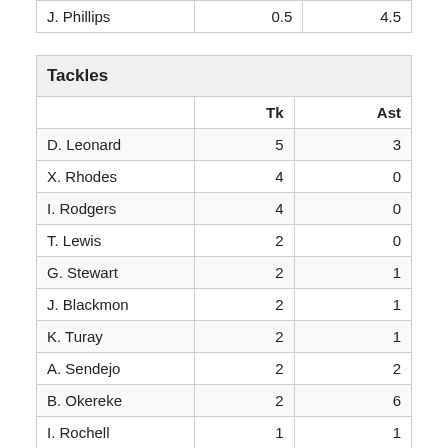|  | Tk | Ast |
| --- | --- | --- |
| J. Phillips | 0.5 | 4.5 |
| Tackles | Tk | Ast |
| --- | --- | --- |
| D. Leonard | 5 | 3 |
| X. Rhodes | 4 | 0 |
| I. Rodgers | 4 | 0 |
| T. Lewis | 2 | 0 |
| G. Stewart | 2 | 1 |
| J. Blackmon | 2 | 1 |
| K. Turay | 2 | 1 |
| A. Sendejo | 2 | 2 |
| B. Okereke | 2 | 6 |
| I. Rochell | 1 | 1 |
| K. Moore II | 1 | 2 |